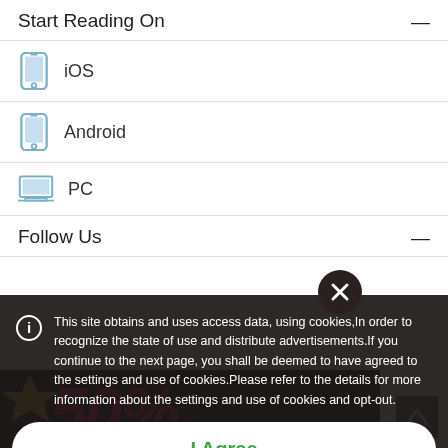Start Reading On
iOS
Android
PC
Follow Us
[Figure (screenshot): Cookie consent overlay on dark background with promotional ad banner partially visible. Contains info icon, cookie policy text, I Agree button, and links to Cookie Policy and Privacy Policy.]
This site obtains and uses access data, using cookies,In order to recognize the state of use and distribute advertisements.If you continue to the next page, you shall be deemed to have agreed to the settings and use of cookies.Please refer to the details for more information about the settings and use of cookies and opt-out.
I Agree
View our Cookie Policy   View our Privacy Policy
Help